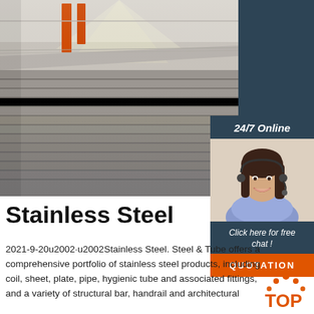[Figure (photo): Stacked stainless steel sheets/plates in a warehouse, viewed in perspective, with orange structural beams visible in background. Right portion shows a dark teal/navy overlay.]
[Figure (photo): Sidebar with '24/7 Online' header, photo of a smiling woman customer service representative with headset, 'Click here for free chat!' text, and orange QUOTATION button.]
Stainless Steel
2021-9-20  Stainless Steel. Steel & Tube offers a comprehensive portfolio of stainless steel products, including coil, sheet, plate, pipe, hygienic tube and associated fittings, and a variety of structural bar, handrail and architectural
[Figure (logo): TOP logo with orange dots/gems above the word TOP in orange letters]